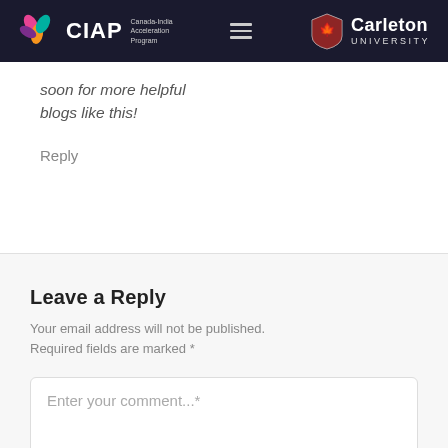CIAP Canada-India Acceleration Program | Carleton University
soon for more helpful blogs like this!
Reply
Leave a Reply
Your email address will not be published. Required fields are marked *
Enter your comment...*